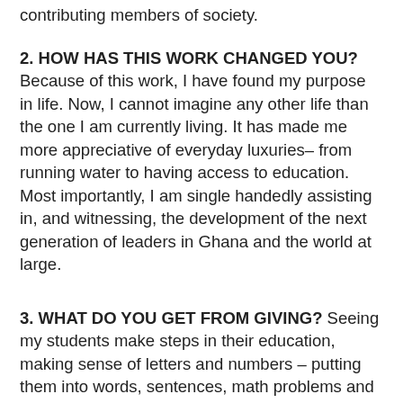contributing members of society.
2. HOW HAS THIS WORK CHANGED YOU? Because of this work, I have found my purpose in life. Now, I cannot imagine any other life than the one I am currently living. It has made me more appreciative of everyday luxuries– from running water to having access to education. Most importantly, I am single handedly assisting in, and witnessing, the development of the next generation of leaders in Ghana and the world at large.
3. WHAT DO YOU GET FROM GIVING? Seeing my students make steps in their education, making sense of letters and numbers – putting them into words, sentences, math problems and being able to understand what they have just learned– is a huge reward for me. Listening to students, who once had no dreams or purpose, as they talk about becoming a doctor, a teacher, president gives me hope for the